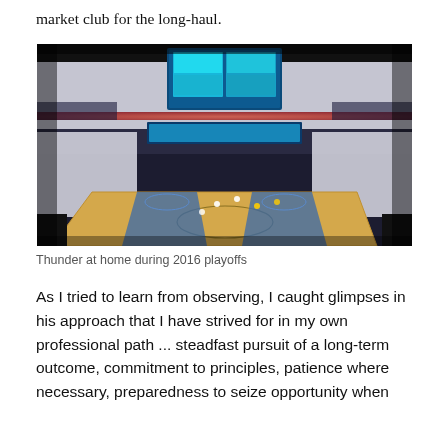market club for the long-haul.
[Figure (photo): Wide-angle view of an NBA arena (Oklahoma City Thunder home court) packed with fans dressed in white during the 2016 playoffs. The basketball court is visible at the bottom center, surrounded by thousands of spectators. Large video scoreboards hang from the ceiling above the court.]
Thunder at home during 2016 playoffs
As I tried to learn from observing, I caught glimpses in his approach that I have strived for in my own professional path ... steadfast pursuit of a long-term outcome, commitment to principles, patience where necessary, preparedness to seize opportunity when